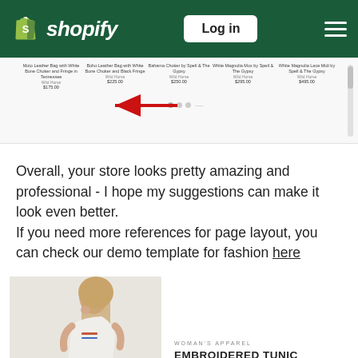[Figure (screenshot): Shopify website header with green background, Shopify logo on left, Log in button in center-right, hamburger menu on right]
[Figure (screenshot): E-commerce product listing strip showing 5 product thumbnails with names, brands, and prices, a scrollbar on the right, pagination dots at the bottom, and a red arrow annotation pointing to the pagination dots]
Overall, your store looks pretty amazing and professional - I hope my suggestions can make it look even better.
If you need more references for page layout, you can check our demo template for fashion here
[Figure (screenshot): Partial screenshot of a fashion demo page showing a woman in an embroidered white tunic, with text 'WOMAN'S APPAREL' and 'EMBROIDERED TUNIC' visible on the right side]